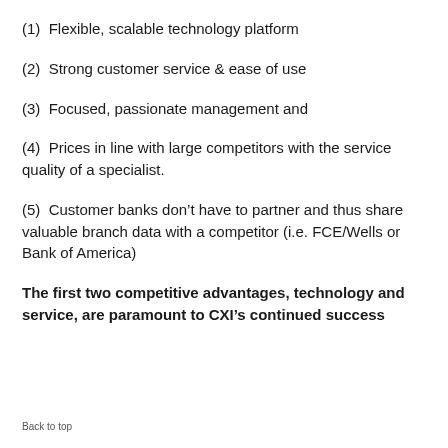(1)  Flexible, scalable technology platform
(2)  Strong customer service & ease of use
(3)  Focused, passionate management and
(4)  Prices in line with large competitors with the service quality of a specialist.
(5)  Customer banks don’t have to partner and thus share valuable branch data with a competitor (i.e. FCE/Wells or Bank of America)
The first two competitive advantages, technology and service, are paramount to CXI’s continued success
Back to top